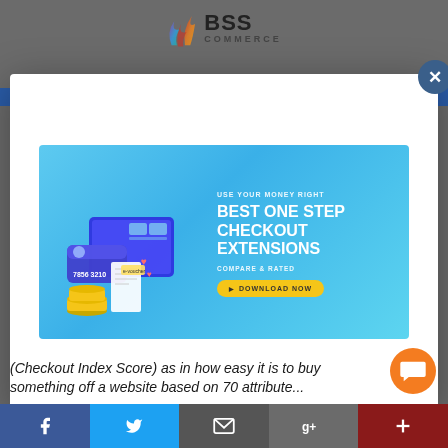[Figure (logo): BSS Commerce logo with flame icon and text]
[Figure (screenshot): Modal popup advertisement for BSS Commerce Best One Step Checkout Extensions with a blue banner showing a monitor with credit card and coins illustration, text: USE YOUR MONEY RIGHT, BEST ONE STEP CHECKOUT EXTENSIONS, COMPARE & RATED, DOWNLOAD NOW button]
(Checkout Index Score) as in how easy it is to buy something off a website based on 70 attribute...
[Figure (infographic): Bottom social share bar with Facebook, Twitter, Email, Google, and Plus buttons in colored segments, and an orange chat bubble button]